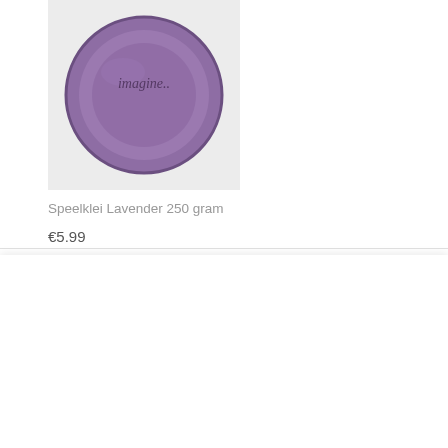[Figure (photo): Purple round tin of play dough labeled 'imagine..' on a light gray background]
Speelklei Lavender 250 gram
€5.99
Wij gebruiken cookies op onze website om je ervaring te verbeteren door je voorkeuren bij te houden. Door te klikken op "Accepteer Alles" ga je toestemming voor het gebruik van al deze cookies. Je kan echter ook "Cookie Settings" bezoeken om aan te geven voor welke cookies je wel of niet toestemming voor geeft.
Cookie Settings
Accepteer Alles